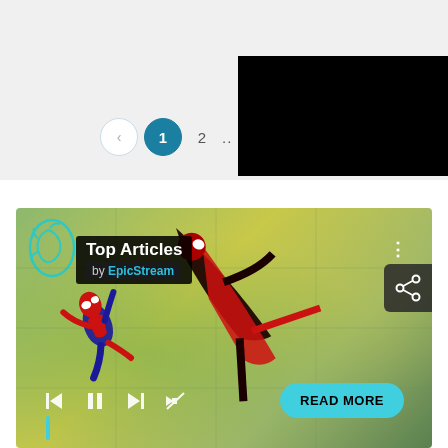[Figure (screenshot): Pagination controls showing back arrow, active page 1 (teal circle), page 2, and ellipsis]
[Figure (screenshot): Black rectangle (redacted/blacked out image area)]
[Figure (screenshot): Top Articles media widget by EpicStream showing animated spider-man style characters on a yellow-green background, with playback controls (prev, pause, next, mute) and a READ MORE button in teal]